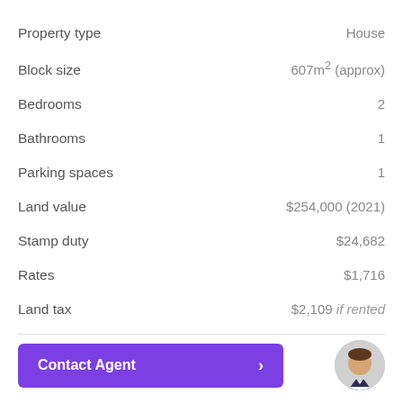| Property details | Value |
| --- | --- |
| Property type | House |
| Block size | 607m² (approx) |
| Bedrooms | 2 |
| Bathrooms | 1 |
| Parking spaces | 1 |
| Land value | $254,000 (2021) |
| Stamp duty | $24,682 |
| Rates | $1,716 |
| Land tax | $2,109 if rented |
[Figure (other): Purple 'Contact Agent' button with right arrow chevron]
[Figure (photo): Agent headshot photo, man in suit]